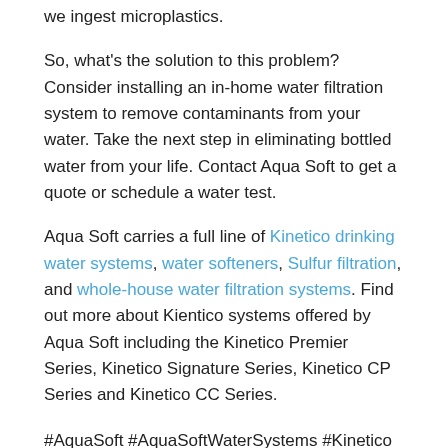we ingest microplastics.
So, what's the solution to this problem? Consider installing an in-home water filtration system to remove contaminants from your water. Take the next step in eliminating bottled water from your life. Contact Aqua Soft to get a quote or schedule a water test.
Aqua Soft carries a full line of Kinetico drinking water systems, water softeners, Sulfur filtration, and whole-house water filtration systems. Find out more about Kientico systems offered by Aqua Soft including the Kinetico Premier Series, Kinetico Signature Series, Kinetico CP Series and Kinetico CC Series.
#AquaSoft #AquaSoftWaterSystems #Kinetico #KineticoHomeWaterSystems #WaterSofteners #SpecialtyTreatmentSystems #DrinkingWaterSystems